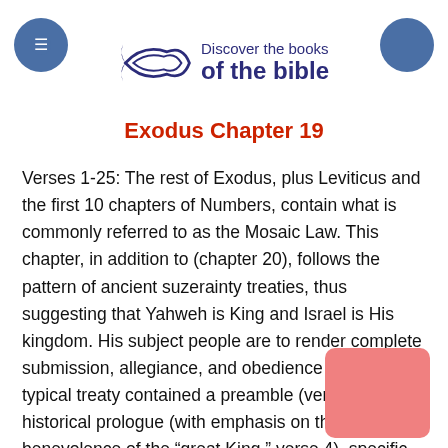Discover the books of the bible
Exodus Chapter 19
Verses 1-25: The rest of Exodus, plus Leviticus and the first 10 chapters of Numbers, contain what is commonly referred to as the Mosaic Law. This chapter, in addition to (chapter 20), follows the pattern of ancient suzerainty treaties, thus suggesting that Yahweh is King and Israel is His kingdom. His subject people are to render complete submission, allegiance, and obedience to Him. A typical treaty contained a preamble (verse 3), historical prologue (with emphasis on the benevolence of the “great King,” verse 4), specific obligations of the vassals, witnesses to the